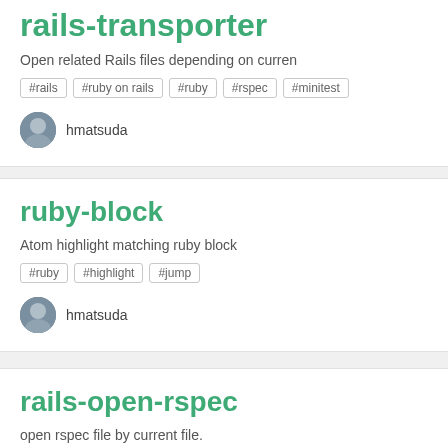rails-transporter
Open related Rails files depending on curren
#rails #ruby on rails #ruby #rspec #minitest
hmatsuda
ruby-block
Atom highlight matching ruby block
#ruby #highlight #jump
hmatsuda
rails-open-rspec
open rspec file by current file.